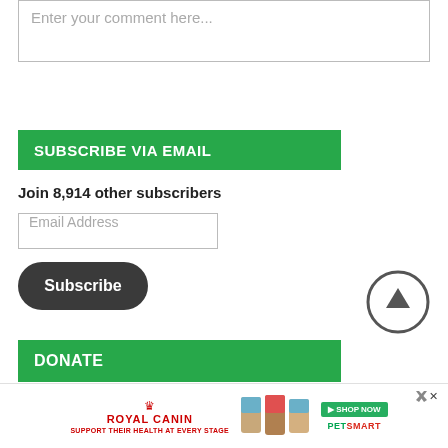Enter your comment here...
SUBSCRIBE VIA EMAIL
Join 8,914 other subscribers
Email Address
Subscribe
[Figure (illustration): Circular scroll-to-top button with upward arrow icon]
DONATE
[Figure (infographic): Royal Canin advertisement banner: 'Support their health at every stage' with product images and PetSmart logo]